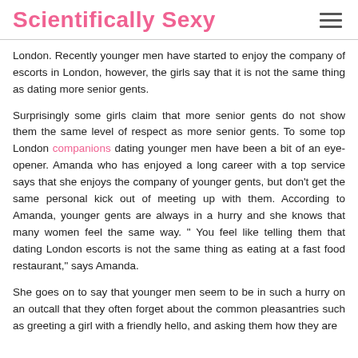Scientifically Sexy
London. Recently younger men have started to enjoy the company of escorts in London, however, the girls say that it is not the same thing as dating more senior gents.
Surprisingly some girls claim that more senior gents do not show them the same level of respect as more senior gents. To some top London companions dating younger men have been a bit of an eye-opener. Amanda who has enjoyed a long career with a top service says that she enjoys the company of younger gents, but don't get the same personal kick out of meeting up with them. According to Amanda, younger gents are always in a hurry and she knows that many women feel the same way. " You feel like telling them that dating London escorts is not the same thing as eating at a fast food restaurant," says Amanda.
She goes on to say that younger men seem to be in such a hurry on an outcall that they often forget about the common pleasantries such as greeting a girl with a friendly hello, and asking them how they are